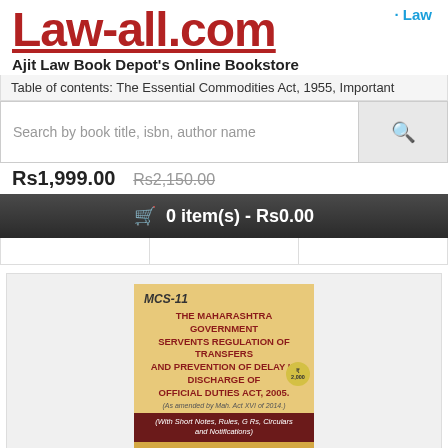Law-all.com
Law
Ajit Law Book Depot's Online Bookstore
Table of contents: The Essential Commodities Act, 1955, Important
Search by book title, isbn, author name
Rs1,999.00  Rs2,150.00
🛒 0 item(s) - Rs0.00
[Figure (photo): Book cover: MCS-11 The Maharashtra Government Servents Regulation of Transfers and Prevention of Delay in Discharge of Official Duties Act, 2005. (As amended by Mah. Act XVI of 2014.) (With Short Notes, Rules, G Rs, Circulars and Notifications). Orange and dark red striped cover with price sticker.]